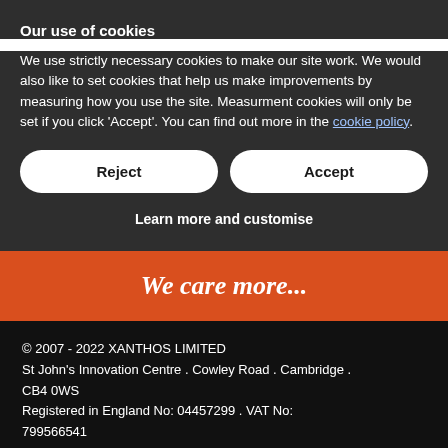Our use of cookies
We use strictly necessary cookies to make our site work. We would also like to set cookies that help us make improvements by measuring how you use the site. Measurment cookies will only be set if you click 'Accept'. You can find out more in the cookie policy.
Reject | Accept
Learn more and customise
We care more...
© 2007 - 2022 XANTHOS LIMITED
St John's Innovation Centre . Cowley Road . Cambridge . CB4 0WS
Registered in England No: 04457299 . VAT No: 799566541